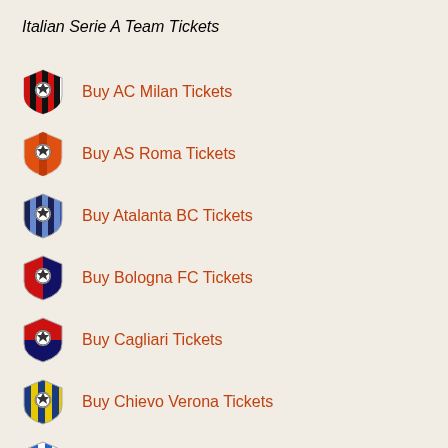Italian Serie A Team Tickets
Buy AC Milan Tickets
Buy AS Roma Tickets
Buy Atalanta BC Tickets
Buy Bologna FC Tickets
Buy Cagliari Tickets
Buy Chievo Verona Tickets
Empoli FC Tickets